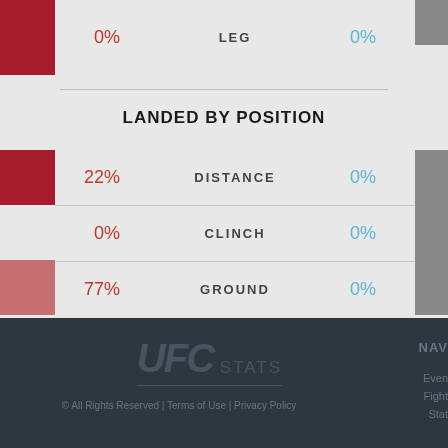| Red | Category | Blue |
| --- | --- | --- |
| 0% | LEG | 0% |
LANDED BY POSITION
| Red | Category | Blue |
| --- | --- | --- |
| 22% | DISTANCE | 0% |
| 0% | CLINCH | 0% |
| 77% | GROUND | 0% |
[Figure (logo): UFC STATS logo]
© All Rights Reserved | Terms of Use | Privacy Policy
NAV